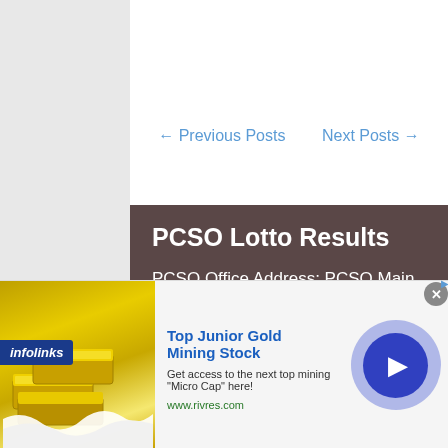← Previous Posts    Next Posts →
PCSO Lotto Results
PCSO Office Address: PCSO Main Office, Sun Plaza Building, 1507 Princeton Street corner Shaw Boulevard, Mandaluyong City 1552 PCSO Contact Numbers: 846-8766, 570-7088, 650-0083 The PCSO lotto results on this page
[Figure (screenshot): Advertisement banner for Top Junior Gold Mining Stock from www.rivres.com with gold bars image and circular blue play button]
Top Junior Gold Mining Stock
Get access to the next top mining "Micro Cap" here!
www.rivres.com